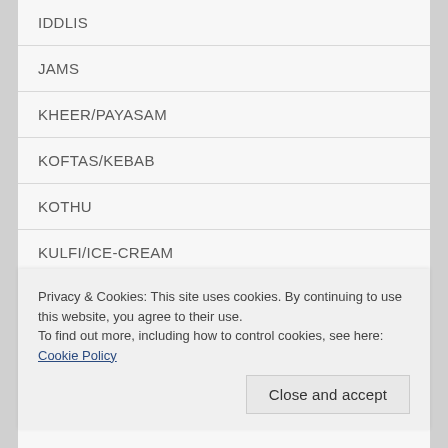IDDLIS
JAMS
KHEER/PAYASAM
KOFTAS/KEBAB
KOTHU
KULFI/ICE-CREAM
LASAGNE,PASTA,NOODLES
Privacy & Cookies: This site uses cookies. By continuing to use this website, you agree to their use.
To find out more, including how to control cookies, see here: Cookie Policy
Close and accept